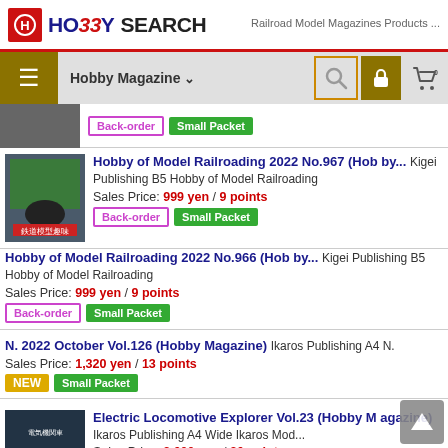HO33Y SEARCH — Railroad Model Magazines Products ...
Hobby Magazine ☰ search lock cart(0)
Back-order | Small Packet
Hobby of Model Railroading 2022 No.967 (Hobby...)
Kigei Publishing B5 Hobby of Model Railroading
Sales Price: 999 yen / 9 points
Back-order | Small Packet
Hobby of Model Railroading 2022 No.966 (Hobby...)
Kigei Publishing B5 Hobby of Model Railroading
Sales Price: 999 yen / 9 points
Back-order | Small Packet
N. 2022 October Vol.126 (Hobby Magazine) Ikaros Publishing A4 N.
Sales Price: 1,320 yen / 13 points
NEW | Small Packet
Electric Locomotive Explorer Vol.23 (Hobby Magazine) Ikaros Publishing A4 Wide Ikaros Model
Sales Price: 2,600 yen / 26 points